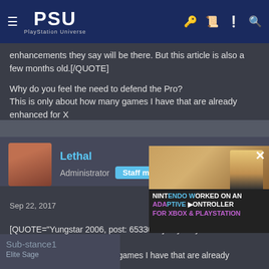PSU PlayStation Universe
enhancements they say will be there. But this article is also a few months old.[/QUOTE]

Why do you feel the need to defend the Pro?
This is only about how many games I have that are already enhanced for X
[Figure (photo): Blurred screenshot divider area]
[Figure (photo): User avatar photo of Lethal - woman with dark hair]
Lethal
Administrator  Staff member
Sep 22, 2017  #21
[QUOTE="Yungstar 2006, post: 6533022]Why do you feel the need to defend the Pro?
This is only about how many games I have that are already enhanced for X[/QUOTE]

Because there are false statements that
[Figure (screenshot): Video overlay: NINTENDO WORKED ON AN ADAPTIVE CONTROLLER FOR XBOX & PLAYSTATION]
Sub-stance1
Elite Sage